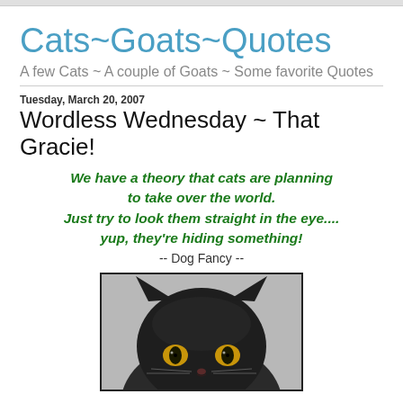Cats~Goats~Quotes
A few Cats ~ A couple of Goats ~ Some favorite Quotes
Tuesday, March 20, 2007
Wordless Wednesday ~ That Gracie!
We have a theory that cats are planning to take over the world. Just try to look them straight in the eye.... yup, they're hiding something! -- Dog Fancy --
[Figure (photo): Close-up photo of a dark/black fluffy cat with bright golden-yellow eyes, partially cut off at top of frame, staring directly at camera]